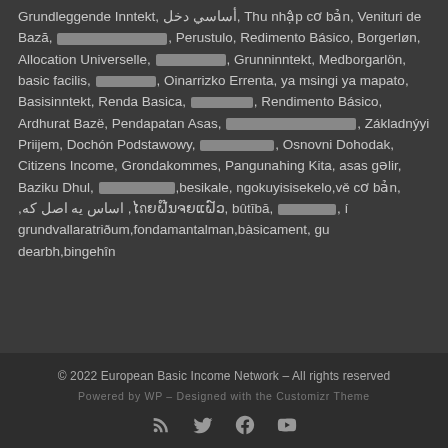Grundleggende Inntekt, أساسي دخل, Thu nhập cơ bản, Venituri de Bază, [redacted], Perustulo, Redimento Básico, Borgerløn, Allocation Universelle, [redacted], Grunninntekt, Medborgarlön, basic facilis, [redacted], Oinarrizko Errenta, ya msingi ya mapato, Basisinntekt, Renda Basica, [redacted], Rendimento Básico, Ardhurat Bazë, Pendapatan Asas, [redacted], Základnýyi Priijem, Dochón Podstawowy, [redacted], Osnovni Dohodak, Citizens Income, Grondakommes, Pangunahing Kita, asas gəlir, Baziku Dhul, [redacted] ,besikale, ngokuyisisekelo,vě cơ bản, ,اساس يه اصل که ,ໄถຍຝ໊ນຈຍແຝ໌ວ, bûtībā, [redacted], í grundvallaratriðum,fondamantalman,bàsicament, gu dearbh,bingehîn
© 2022 European Basic Income Network – All rights reserved
Powered by WP – Designed with the Customizr Theme